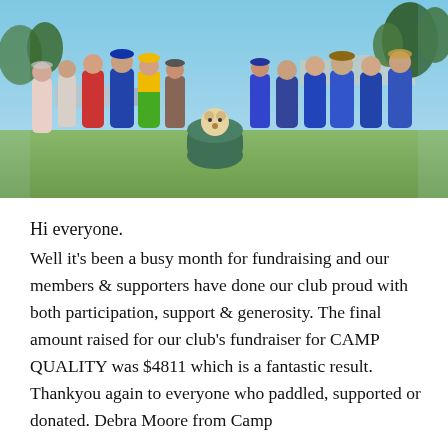[Figure (photo): Group photo of approximately 15 people standing outdoors on grass near a coastal area. People are wearing casual and sporting clothing in various colours including blue, red, yellow and white. A golden retriever dog is visible sitting in a green container/tyre in the middle of the group. Trees and parked cars are visible in the background under a blue sky.]
Hi everyone.
Well it's been a busy month for fundraising and our members & supporters have done our club proud with both participation, support & generosity. The final amount raised for our club's fundraiser for CAMP QUALITY was $4811 which is a fantastic result. Thankyou again to everyone who paddled, supported or donated. Debra Moore from Camp